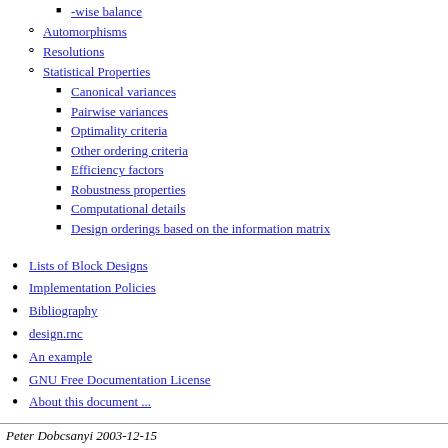-wise balance
Automorphisms
Resolutions
Statistical Properties
Canonical variances
Pairwise variances
Optimality criteria
Other ordering criteria
Efficiency factors
Robustness properties
Computational details
Design orderings based on the information matrix
Lists of Block Designs
Implementation Policies
Bibliography
design.rnc
An example
GNU Free Documentation License
About this document ...
Peter Dobcsanyi 2003-12-15